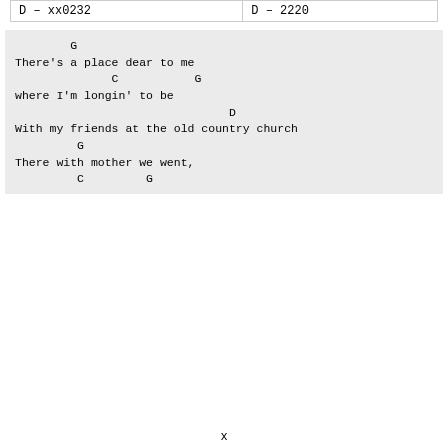| D – xx0232 | D – 2220 |
G
There's a place dear to me
              C           G
where I'm longin' to be
                               D
With my friends at the old country church
         G
There with mother we went,
         C         G
x